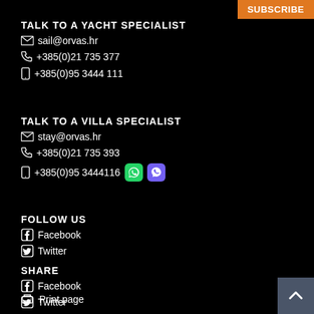Subscribe
TALK TO A YACHT SPECIALIST
sail@orvas.hr
+385(0)21 735 377
+385(0)95 3444 111
TALK TO A VILLA SPECIALIST
stay@orvas.hr
+385(0)21 735 393
+385(0)95 3444116
FOLLOW US
Facebook
Twitter
SHARE
Facebook
Twitter
Print page